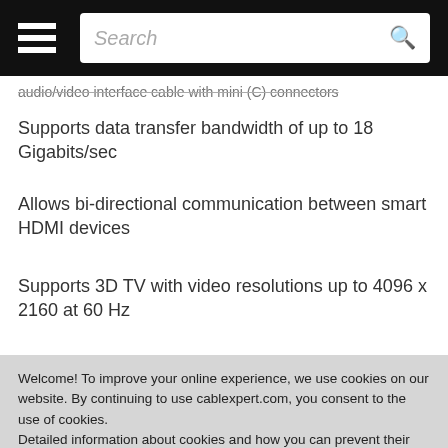Search
audio/video interface cable with mini (C) connectors
Supports data transfer bandwidth of up to 18 Gigabits/sec
Allows bi-directional communication between smart HDMI devices
Supports 3D TV with video resolutions up to 4096 x 2160 at 60 Hz
Supports HDMI Ethernet Channel 100 Mbps function (HEC)
Supports Audio Return Channel technology (HARC)
Welcome! To improve your online experience, we use cookies on our website. By continuing to use cablexpert.com, you consent to the use of cookies.
Detailed information about cookies and how you can prevent their use at any time can be found in our Privacy policy.